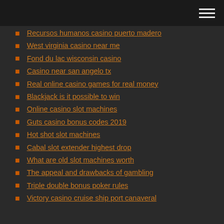Recursos humanos casino puerto madero
West virginia casino near me
Fond du lac wisconsin casino
Casino near san angelo tx
Real online casino games for real money
Blackjack is it possible to win
Online casino slot machines
Guts casino bonus codes 2019
Hot shot slot machines
Cabal slot extender highest drop
What are old slot machines worth
The appeal and drawbacks of gambling
Triple double bonus poker rules
Victory casino cruise ship port canaveral